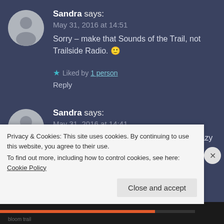[Figure (illustration): Gray circular avatar with silhouette of a person, for first comment]
Sandra says:
May 31, 2016 at 14:51
Sorry – make that Sounds of the Trail, not Trailside Radio. 🙂
★ Liked by 1 person
Reply
[Figure (illustration): Gray circular avatar with silhouette of a person, for second comment]
Sandra says:
May 31, 2016 at 14:41
I just figured out that not only are you a crazy radical blogger (thank you – it's so
Privacy & Cookies: This site uses cookies. By continuing to use this website, you agree to their use.
To find out more, including how to control cookies, see here: Cookie Policy
Close and accept